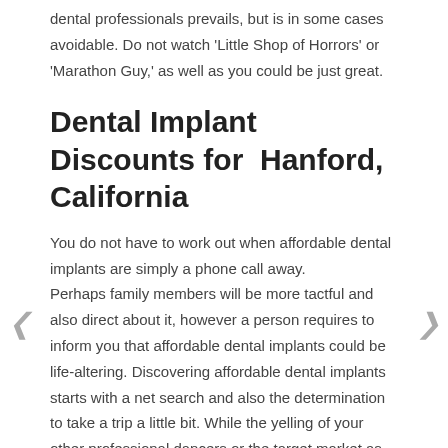dental professionals prevails, but is in some cases avoidable. Do not watch 'Little Shop of Horrors' or 'Marathon Guy,' as well as you could be just great.
Dental Implant Discounts for  Hanford, California
You do not have to work out when affordable dental implants are simply a phone call away. Perhaps family members will be more tactful and also direct about it, however a person requires to inform you that affordable dental implants could be life-altering. Discovering affordable dental implants starts with a net search and also the determination to take a trip a little bit. While the yelling of your other professional dancers or the target market as they go flying could be interesting, the policy of 'finders caretakers' can spell your downfall for finding affordable dental implants.
When choosing affordable dental implants, just find out exactly